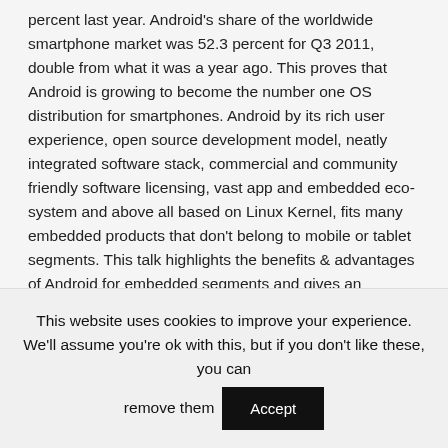percent last year. Android's share of the worldwide smartphone market was 52.3 percent for Q3 2011, double from what it was a year ago. This proves that Android is growing to become the number one OS distribution for smartphones. Android by its rich user experience, open source development model, neatly integrated software stack, commercial and community friendly software licensing, vast app and embedded eco-system and above all based on Linux Kernel, fits many embedded products that don't belong to mobile or tablet segments. This talk highlights the benefits & advantages of Android for embedded segments and gives an overview of limitations and challenges in taking Android outside of mobile phone space.
This website uses cookies to improve your experience. We'll assume you're ok with this, but if you don't like these, you can remove them   Accept